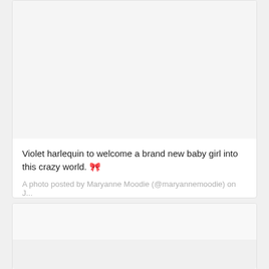[Figure (photo): Large image area (photo placeholder) at top of first social media card, light gray background]
Violet harlequin to welcome a brand new baby girl into this crazy world. 🎀
A photo posted by Maryanne Moodie (@maryannemoodie) on J...
[Figure (photo): Second social media card with two-tone gray image placeholder areas]